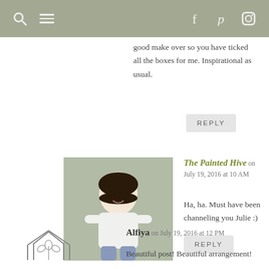[Figure (screenshot): Website navigation bar with search icon, hamburger menu, and social media icons (Facebook, Pinterest, Instagram) on a grey/olive background]
good make over so you have ticked all the boxes for me. Inspirational as usual.
REPLY
[Figure (photo): Photo of a woman sitting, wearing a white shirt, with dark hair, against a textured background]
The Painted Hive on July 19, 2016 at 10 AM
Ha, ha. Must have been channeling you Julie :)
REPLY
[Figure (logo): House outline logo with plant/floral design inside, line art style]
Alfiya on July 19, 2016 at 12 PM
Beautiful post! Beautiful arrangement!